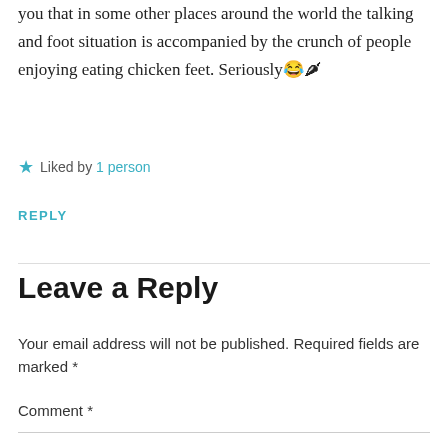you that in some other places around the world the talking and foot situation is accompanied by the crunch of people enjoying eating chicken feet. Seriously😂🌶
★ Liked by 1 person
REPLY
Leave a Reply
Your email address will not be published. Required fields are marked *
Comment *